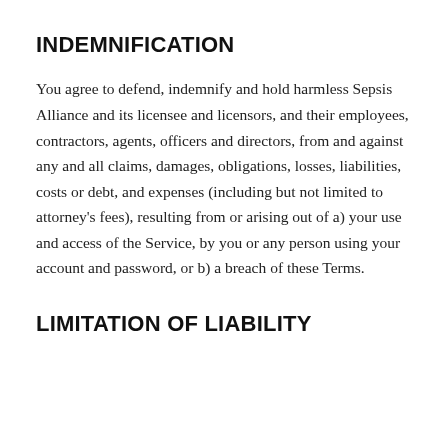INDEMNIFICATION
You agree to defend, indemnify and hold harmless Sepsis Alliance and its licensee and licensors, and their employees, contractors, agents, officers and directors, from and against any and all claims, damages, obligations, losses, liabilities, costs or debt, and expenses (including but not limited to attorney's fees), resulting from or arising out of a) your use and access of the Service, by you or any person using your account and password, or b) a breach of these Terms.
LIMITATION OF LIABILITY